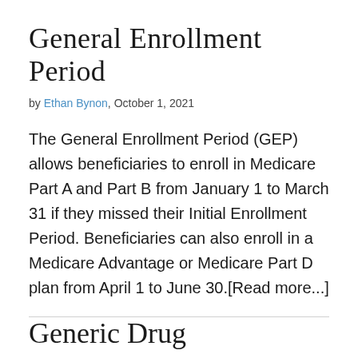General Enrollment Period
by Ethan Bynon, October 1, 2021
The General Enrollment Period (GEP) allows beneficiaries to enroll in Medicare Part A and Part B from January 1 to March 31 if they missed their Initial Enrollment Period. Beneficiaries can also enroll in a Medicare Advantage or Medicare Part D plan from April 1 to June 30.[Read more...]
Generic Drug